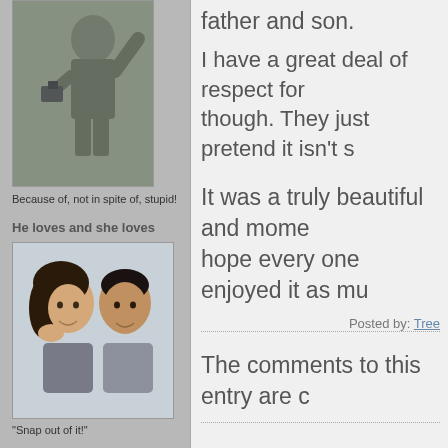[Figure (photo): Man in military/flight gear waving]
Because of, not in spite of, stupid!
He loves and she loves
[Figure (photo): Romantic couple looking at each other]
"Snap out of it!"
Just Causes
[Figure (photo): Support Denmark banner/image]
father and son.
I have a great deal of respect for though. They just pretend it isn't s
It was a truly beautiful and mome hope every one enjoyed it as mu
Posted by: Tree
The comments to this entry are c